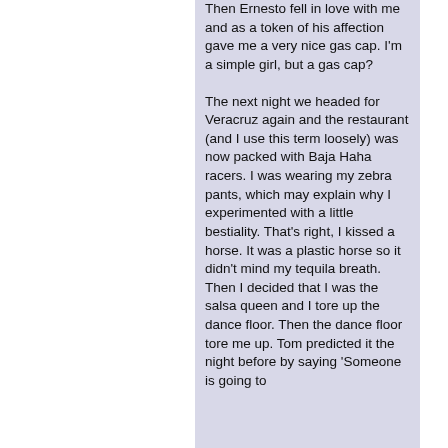Then Ernesto fell in love with me and as a token of his affection gave me a very nice gas cap. I'm a simple girl, but a gas cap?

The next night we headed for Veracruz again and the restaurant (and I use this term loosely) was now packed with Baja Haha racers. I was wearing my zebra pants, which may explain why I experimented with a little bestiality. That's right, I kissed a horse. It was a plastic horse so it didn't mind my tequila breath. Then I decided that I was the salsa queen and I tore up the dance floor. Then the dance floor tore me up. Tom predicted it the night before by saying 'Someone is going to...